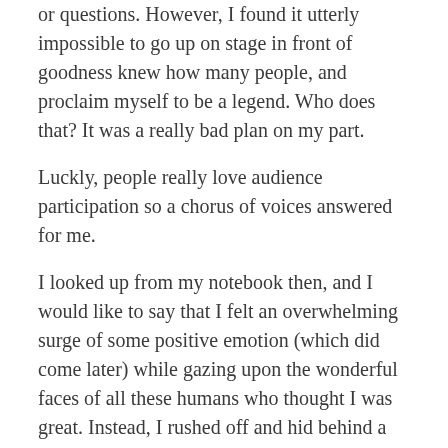or questions. However, I found it utterly impossible to go up on stage in front of goodness knew how many people, and proclaim myself to be a legend. Who does that? It was a really bad plan on my part.
Luckly, people really love audience participation so a chorus of voices answered for me.
I looked up from my notebook then, and I would like to say that I felt an overwhelming surge of some positive emotion (which did come later) while gazing upon the wonderful faces of all these humans who thought I was great. Instead, I rushed off and hid behind a curtain to have the long awaited panic-and-cry